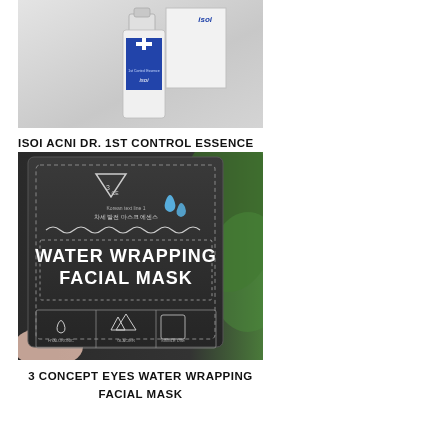[Figure (photo): Photo of ISOI Acni Dr. 1st Control Essence bottle and box on light gray background]
ISOI ACNI DR. 1ST CONTROL ESSENCE
[Figure (photo): Photo of 3 Concept Eyes Water Wrapping Facial Mask packet, dark packaging with white text and water drop graphics, green background visible]
3 CONCEPT EYES WATER WRAPPING FACIAL MASK